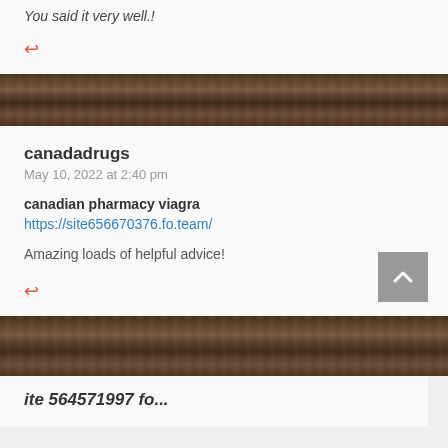You said it very well.
↩ (reply arrow)
canadadrugs
May 10, 2022 at 2:40 pm

canadian pharmacy viagra
https://site656670376.fo.team/

Amazing loads of helpful advice!
↩ (reply arrow)
ite 564571997 fo...